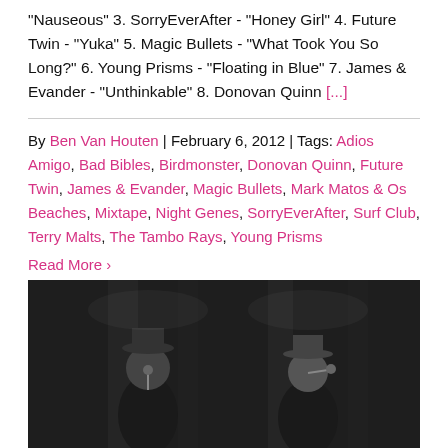"Nauseous" 3. SorryEverAfter - "Honey Girl" 4. Future Twin - "Yuka" 5. Magic Bullets - "What Took You So Long?" 6. Young Prisms - "Floating in Blue" 7. James & Evander - "Unthinkable" 8. Donovan Quinn [...]
By Ben Van Houten | February 6, 2012 | Tags: Adios Amigo, Bad Bibles, Birdmonster, Donovan Quinn, Future Twin, James & Evander, Magic Bullets, Mark Matos & Os Beaches, Mixtape, Night Genes, SorryEverAfter, Surf Club, Terry Malts, The Tambo Rays, Young Prisms
Read More ›
[Figure (photo): Black and white photo of two musicians performing on stage with microphones]